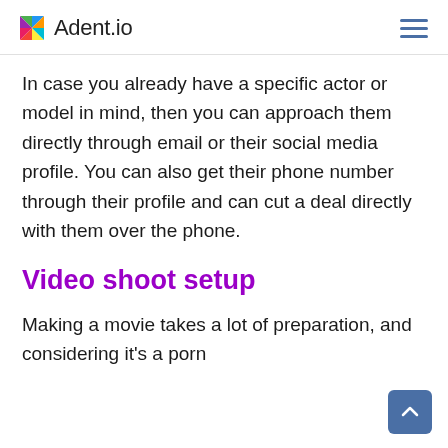Adent.io
In case you already have a specific actor or model in mind, then you can approach them directly through email or their social media profile. You can also get their phone number through their profile and can cut a deal directly with them over the phone.
Video shoot setup
Making a movie takes a lot of preparation, and considering it's a porn